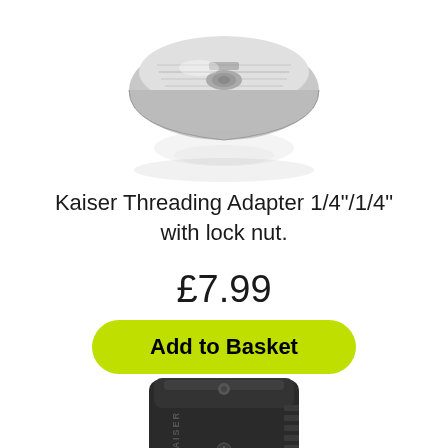[Figure (photo): Close-up photo of a metal threading adapter with knurled grip, shown from above with reflection, on white background]
Kaiser Threading Adapter 1/4"/1/4" with lock nut.
£7.99
Add to Basket
[Figure (photo): Black Kaiser accessory shoe adapter/clamp device shown from front, with ridged grip and screw, partially cropped at bottom of page]